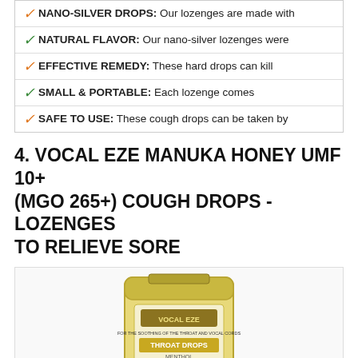NANO-SILVER DROPS: Our lozenges are made with
NATURAL FLAVOR: Our nano-silver lozenges were
EFFECTIVE REMEDY: These hard drops can kill
SMALL & PORTABLE: Each lozenge comes
SAFE TO USE: These cough drops can be taken by
4. VOCAL EZE MANUKA HONEY UMF 10+ (MGO 265+) COUGH DROPS - LOZENGES TO RELIEVE SORE
[Figure (photo): A yellow resealable pouch of Vocal Eze Throat Drops Menthol Manuka Honey UMF 10+ product with some individual honey-colored drops scattered in front of the bag]